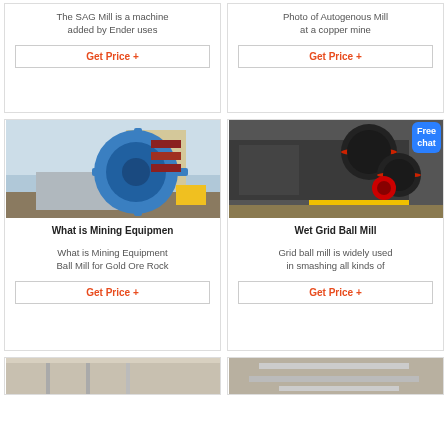The SAG Mill is a machine added by Ender uses
Photo of Autogenous Mill at a copper mine
Get Price +
Get Price +
[Figure (photo): Photo of a blue wheel-type sand washing machine / mining equipment outdoors]
[Figure (photo): Photo of industrial Wet Grid Ball Mill / jaw crusher machine in a warehouse with red and black rollers]
What is Mining Equipmen
Wet Grid Ball Mill
What is Mining Equipment Ball Mill for Gold Ore Rock
Grid ball mill is widely used in smashing all kinds of
Get Price +
Get Price +
[Figure (photo): Partial photo at bottom left, appears to be industrial equipment interior]
[Figure (photo): Partial photo at bottom right, appears to be industrial equipment interior]